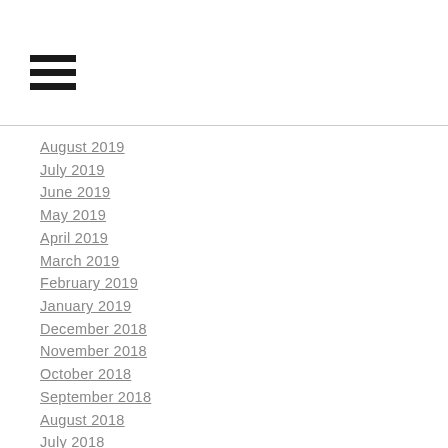[Figure (other): Hamburger menu icon — three horizontal black bars]
August 2019
July 2019
June 2019
May 2019
April 2019
March 2019
February 2019
January 2019
December 2018
November 2018
October 2018
September 2018
August 2018
July 2018
June 2018
May 2018
April 2018
March 2018